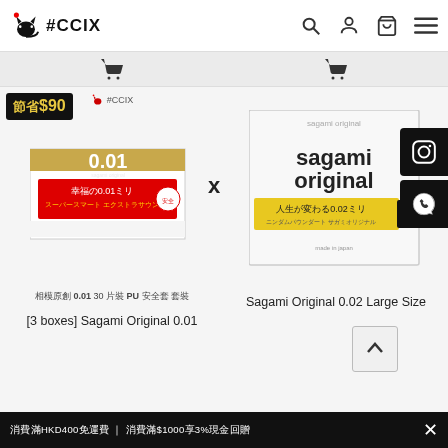#CCIX
[Figure (screenshot): Product listing page showing Sagami condom products on #CCIX e-commerce site]
[3 boxes] Sagami Original 0.01
Sagami Original 0.02 Large Size
節省$90
相模原創 0.01 30 片裝 PU 安全套 套裝
消費滿HKD400免運費 | 消費滿$1000享3%現金回贈